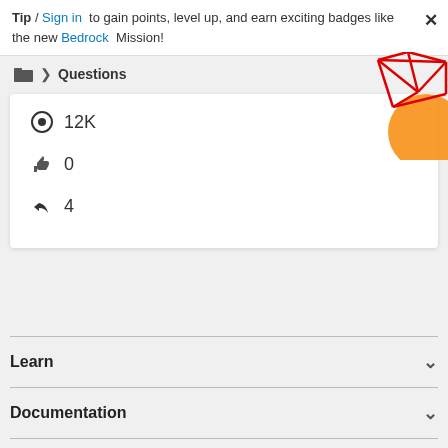Tip / Sign in to gain points, level up, and earn exciting badges like the new Bedrock Mission!
Questions
[Figure (illustration): Decorative geometric/abstract graphic with red lines forming triangles and shapes, with an orange circle, in the top-right corner]
12K views
0 likes
4 replies
Learn
Documentation